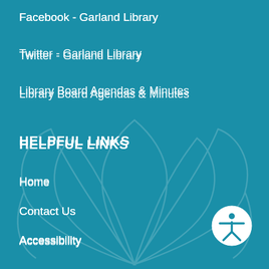Facebook - Garland Library
Twitter - Garland Library
Library Board Agendas & Minutes
HELPFUL LINKS
Home
Contact Us
Accessibility
Site Map
Copyright Notices